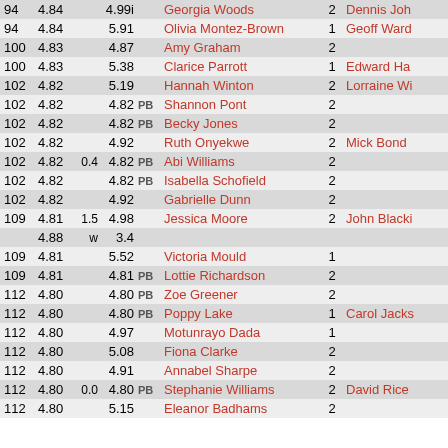| Rank | Perf | Wind | Best | PB | Name | Num | Coach |
| --- | --- | --- | --- | --- | --- | --- | --- |
| 94 | 4.84 |  | 4.99i |  | Georgia Woods | 2 | Dennis Joh... |
| 94 | 4.84 |  | 5.91 |  | Olivia Montez-Brown | 1 | Geoff Ward... |
| 100 | 4.83 |  | 4.87 |  | Amy Graham | 2 |  |
| 100 | 4.83 |  | 5.38 |  | Clarice Parrott | 1 | Edward Ha... |
| 102 | 4.82 |  | 5.19 |  | Hannah Winton | 2 | Lorraine Wi... |
| 102 | 4.82 |  | 4.82 | PB | Shannon Pont | 2 |  |
| 102 | 4.82 |  | 4.82 | PB | Becky Jones | 2 |  |
| 102 | 4.82 |  | 4.92 |  | Ruth Onyekwe | 2 | Mick Bond |
| 102 | 4.82 | 0.4 | 4.82 | PB | Abi Williams | 2 |  |
| 102 | 4.82 |  | 4.82 | PB | Isabella Schofield | 2 |  |
| 102 | 4.82 |  | 4.92 |  | Gabrielle Dunn | 2 |  |
| 109 | 4.81 | 1.5 | 4.98 |  | Jessica Moore | 2 | John Blacki... |
|  | 4.88 | w | 3.4 |  |  |  |  |
| 109 | 4.81 |  | 5.52 |  | Victoria Mould | 1 |  |
| 109 | 4.81 |  | 4.81 | PB | Lottie Richardson | 2 |  |
| 112 | 4.80 |  | 4.80 | PB | Zoe Greener | 2 |  |
| 112 | 4.80 |  | 4.80 | PB | Poppy Lake | 1 | Carol Jacks... |
| 112 | 4.80 |  | 4.97 |  | Motunrayo Dada | 1 |  |
| 112 | 4.80 |  | 5.08 |  | Fiona Clarke | 2 |  |
| 112 | 4.80 |  | 4.91 |  | Annabel Sharpe | 2 |  |
| 112 | 4.80 | 0.0 | 4.80 | PB | Stephanie Williams | 2 | David Rice |
| 112 | 4.80 |  | 5.15 |  | Eleanor Badhams | 2 |  |